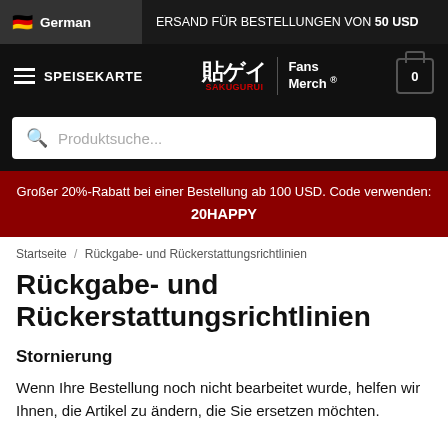German | ERSAND FÜR BESTELLUNGEN VON 50 USD
SPEISEKARTE | Sakugurui Fans Merch ® | 0
Produktsuche...
Großer 20%-Rabatt bei einer Bestellung ab 100 USD. Code verwenden: 20HAPPY
Startseite / Rückgabe- und Rückerstattungsrichtlinien
Rückgabe- und Rückerstattungsrichtlinien
Stornierung
Wenn Ihre Bestellung noch nicht bearbeitet wurde, helfen wir Ihnen, die Artikel zu ändern, die Sie ersetzen möchten.